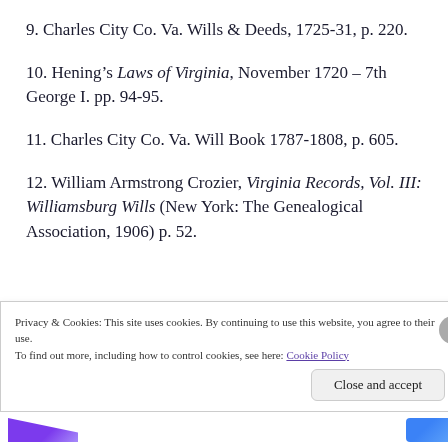9. Charles City Co. Va. Wills & Deeds, 1725-31, p. 220.
10. Hening’s Laws of Virginia, November 1720 – 7th George I. pp. 94-95.
11. Charles City Co. Va. Will Book 1787-1808, p. 605.
12. William Armstrong Crozier, Virginia Records, Vol. III: Williamsburg Wills (New York: The Genealogical Association, 1906) p. 52.
Privacy & Cookies: This site uses cookies. By continuing to use this website, you agree to their use. To find out more, including how to control cookies, see here: Cookie Policy